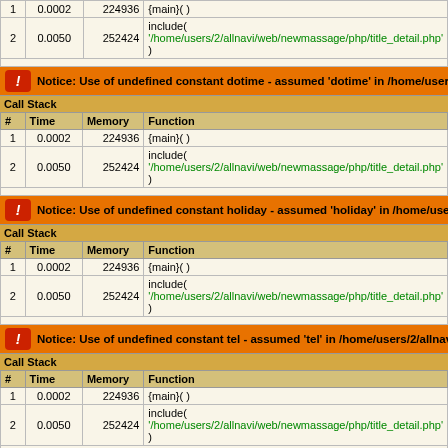| # | Time | Memory | Function |
| --- | --- | --- | --- |
| 1 | 0.0002 | 224936 | {main}( ) |
| 2 | 0.0050 | 252424 | include( '/home/users/2/allnavi/web/newmassage/php/title_detail.php' ) |
Notice: Use of undefined constant dotime - assumed 'dotime' in /home/users/2/allnavi...
Call Stack
| # | Time | Memory | Function |
| --- | --- | --- | --- |
| 1 | 0.0002 | 224936 | {main}( ) |
| 2 | 0.0050 | 252424 | include( '/home/users/2/allnavi/web/newmassage/php/title_detail.php' ) |
Notice: Use of undefined constant holiday - assumed 'holiday' in /home/users/2/allnavi...
Call Stack
| # | Time | Memory | Function |
| --- | --- | --- | --- |
| 1 | 0.0002 | 224936 | {main}( ) |
| 2 | 0.0050 | 252424 | include( '/home/users/2/allnavi/web/newmassage/php/title_detail.php' ) |
Notice: Use of undefined constant tel - assumed 'tel' in /home/users/2/allnavi/web/new...
Call Stack
| # | Time | Memory | Function |
| --- | --- | --- | --- |
| 1 | 0.0002 | 224936 | {main}( ) |
| 2 | 0.0050 | 252424 | include( '/home/users/2/allnavi/web/newmassage/php/title_detail.php' ) |
Notice: Use of undefined constant access - assumed 'access' in /home/users/2/allnavi...
Call Stack
| # | Time | Memory | Function |
| --- | --- | --- | --- |
| 1 | 0.0002 | 224936 | {main}( ) |